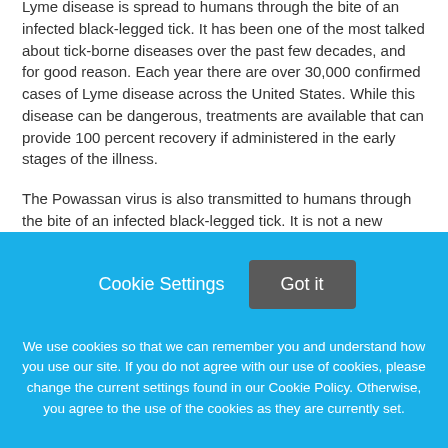Lyme disease is spread to humans through the bite of an infected black-legged tick. It has been one of the most talked about tick-borne diseases over the past few decades, and for good reason. Each year there are over 30,000 confirmed cases of Lyme disease across the United States. While this disease can be dangerous, treatments are available that can provide 100 percent recovery if administered in the early stages of the illness.
The Powassan virus is also transmitted to humans through the bite of an infected black-legged tick. It is not a new disease, and is far
Cookie Settings
Got it
We use cookies so that we can remember you and understand how you use our site. If you do not agree with our use of cookies, please change the current settings found in our Cookie Policy. Otherwise, you agree to the use of the cookies as they are currently set.